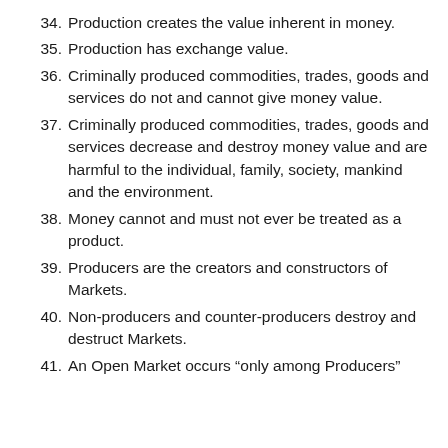34. Production creates the value inherent in money.
35. Production has exchange value.
36. Criminally produced commodities, trades, goods and services do not and cannot give money value.
37. Criminally produced commodities, trades, goods and services decrease and destroy money value and are harmful to the individual, family, society, mankind and the environment.
38. Money cannot and must not ever be treated as a product.
39. Producers are the creators and constructors of Markets.
40. Non-producers and counter-producers destroy and destruct Markets.
41. An Open Market occurs “only among Producers”